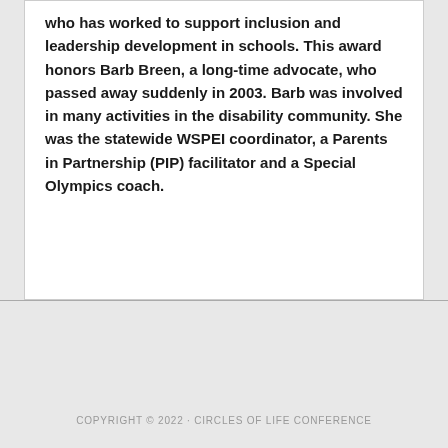who has worked to support inclusion and leadership development in schools. This award honors Barb Breen, a long-time advocate, who passed away suddenly in 2003. Barb was involved in many activities in the disability community. She was the statewide WSPEI coordinator, a Parents in Partnership (PIP) facilitator and a Special Olympics coach.
COPYRIGHT © 2022 · CIRCLES OF LIFE CONFERENCE